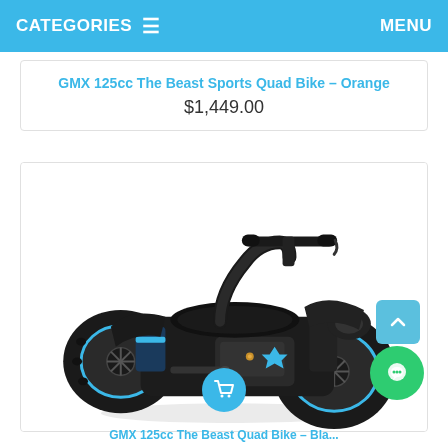CATEGORIES  ≡    MENU
GMX 125cc The Beast Sports Quad Bike – Orange
$1,449.00
[Figure (photo): Black and blue GMX 125cc quad bike / ATV viewed from the front-left side, with large black tires with blue rims, black body, and handlebar visible.]
GMX 125cc The Beast Quad Bike – ...